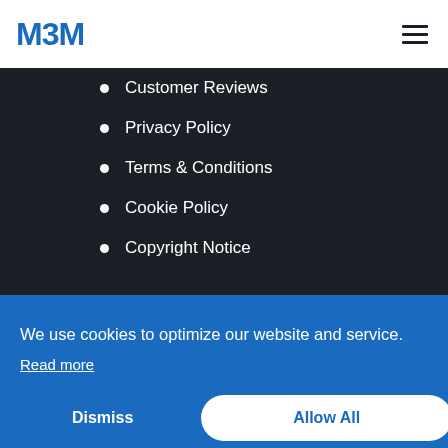MBM
Customer Reviews
Privacy Policy
Terms & Conditions
Cookie Policy
Copyright Notice
We use cookies to optimize our website and service. Read more
Dismiss
Allow All